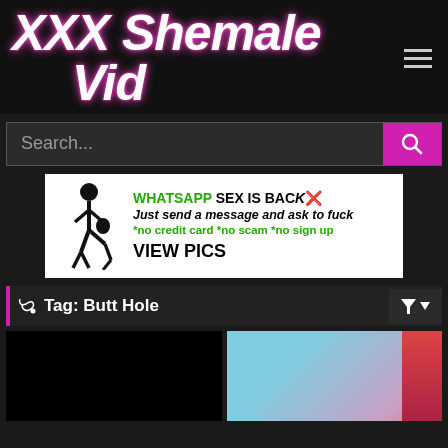XXX Shemale Vid
Search...
[Figure (infographic): Advertisement banner: WHATSAPP SEX IS BACK with stick figure illustration, text: Just send a message and ask to fuck, *no credit card *no scam *no sign up, VIEW PICS]
Tag: Butt Hole
[Figure (photo): Black thumbnail image]
[Figure (photo): Color thumbnail showing person]